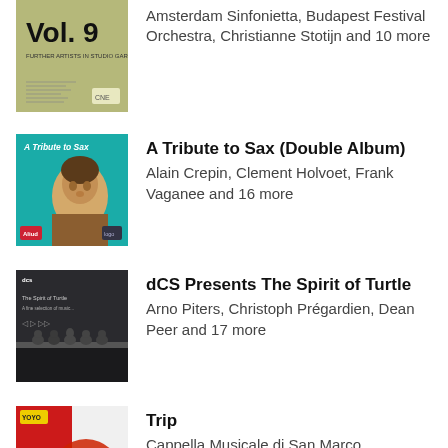[Figure (illustration): Album cover for Vol. 9 - olive/green colored with text 'Vol. 9' prominently displayed]
Amsterdam Sinfonietta, Budapest Festival Orchestra, Christianne Stotijn and 10 more
[Figure (illustration): Album cover for 'A Tribute to Sax' - teal background with illustrated portrait of a man in historical dress]
A Tribute to Sax (Double Album)
Alain Crepin, Clement Holvoet, Frank Vaganee and 16 more
[Figure (photo): Album cover for 'dCS Presents The Spirit of Turtle' - dark gray/black photo showing birds perched on a ledge]
dCS Presents The Spirit of Turtle
Arno Piters, Christoph Prégardien, Dean Peer and 17 more
[Figure (illustration): Album cover for 'Trip' - red/white background with large red flower/poppy]
Trip
Cappella Musicale di San Marco,